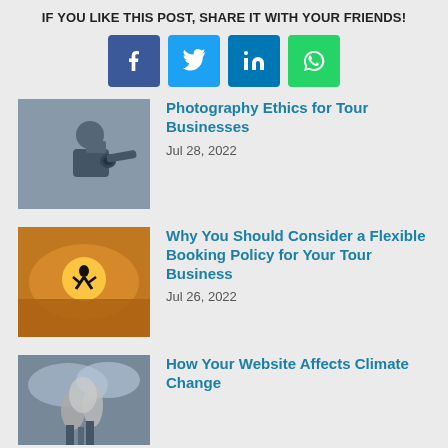IF YOU LIKE THIS POST, SHARE IT WITH YOUR FRIENDS!
[Figure (infographic): Social share buttons: Facebook (blue), Twitter (cyan), LinkedIn (blue), WhatsApp (green)]
[Figure (photo): Thumbnail of a photographer taking a photo]
Photography Ethics for Tour Businesses
Jul 28, 2022
[Figure (photo): Thumbnail of a person jumping at sunset on a beach]
Why You Should Consider a Flexible Booking Policy for Your Tour Business
Jul 26, 2022
[Figure (photo): Thumbnail of smoke or clouds from industrial source]
How Your Website Affects Climate Change
TourismTiger uses cookies to give you the best possible service. If you continue browsing, you agree to our use of cookies. More details can be found in our privacy policy.